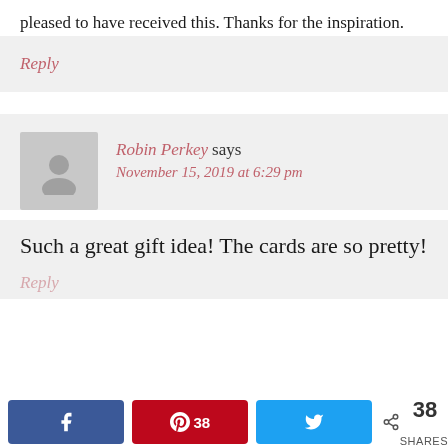pleased to have received this. Thanks for the inspiration.
Reply
Robin Perkey says
November 15, 2019 at 6:29 pm
Such a great gift idea! The cards are so pretty!
Reply
38 SHARES